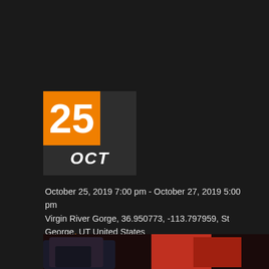[Figure (other): Calendar icon showing date 25 OCT with orange square for day number and dark background for month]
October 25, 2019 7:00 pm - October 27, 2019 5:00 pm
Virgin River Gorge, 36.950773, -113.797959, St George, UT United States
+ Google Map
$395
This event has passed.
[Figure (photo): Partial photo showing shoes/feet at bottom of page]